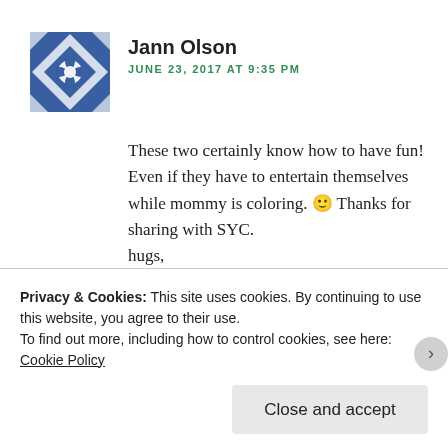[Figure (illustration): Blue and white geometric tile pattern avatar for Jann Olson]
Jann Olson
JUNE 23, 2017 AT 9:35 PM
These two certainly know how to have fun! Even if they have to entertain themselves while mommy is coloring. 🙂 Thanks for sharing with SYC.
hugs,
Jann
★ Like
Privacy & Cookies: This site uses cookies. By continuing to use this website, you agree to their use.
To find out more, including how to control cookies, see here: Cookie Policy
Close and accept